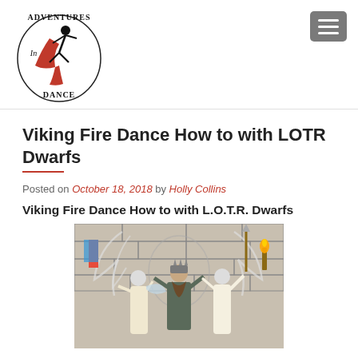[Figure (logo): Adventures in Dance circular logo with dancer figures in red and black]
Viking Fire Dance How to with LOTR Dwarfs
Posted on October 18, 2018 by Holly Collins
Viking Fire Dance How to with L.O.T.R. Dwarfs
[Figure (photo): Three people in medieval/fantasy costumes posing in front of a stone wall backdrop with wings and torches. Two women in long dresses and a man dressed as a Viking/dwarf in the center.]